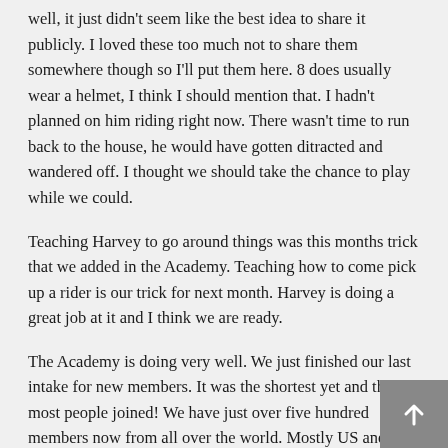well, it just didn't seem like the best idea to share it publicly. I loved these too much not to share them somewhere though so I'll put them here. 8 does usually wear a helmet, I think I should mention that. I hadn't planned on him riding right now. There wasn't time to run back to the house, he would have gotten ditracted and wandered off. I thought we should take the chance to play while we could.
Teaching Harvey to go around things was this months trick that we added in the Academy. Teaching how to come pick up a rider is our trick for next month. Harvey is doing a great job at it and I think we are ready.
The Academy is doing very well. We just finished our last intake for new members. It was the shortest yet and the most people joined! We have just over five hundred members now from all over the world. Mostly US and Australia but also England, Slavakia (is that right? It's somewhere in middle Europe), The Netherlands, Greece, It's so much fun to see